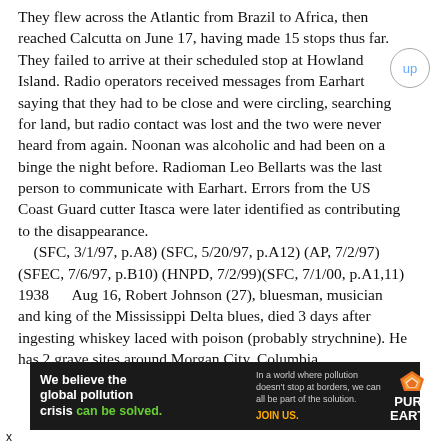They flew across the Atlantic from Brazil to Africa, then reached Calcutta on June 17, having made 15 stops thus far. They failed to arrive at their scheduled stop at Howland Island. Radio operators received messages from Earhart saying that they had to be close and were circling, searching for land, but radio contact was lost and the two were never heard from again. Noonan was alcoholic and had been on a binge the night before. Radioman Leo Bellarts was the last person to communicate with Earhart. Errors from the US Coast Guard cutter Itasca were later identified as contributing to the disappearance.
(SFC, 3/1/97, p.A8) (SFC, 5/20/97, p.A12) (AP, 7/2/97) (SFEC, 7/6/97, p.B10) (HNPD, 7/2/99)(SFC, 7/1/00, p.A1,11)
1938      Aug 16, Robert Johnson (27), bluesman, musician and king of the Mississippi Delta blues, died 3 days after ingesting whiskey laced with poison (probably strychnine). He has 2 grave sites around Morgan City. Columbia
[Figure (infographic): Advertisement banner for Pure Earth organization. Black background. Left side bold white text: 'We believe the global pollution crisis' with 'can be solved.' in green. Middle text: 'In a world where pollution doesn't stop at borders, we can all be part of the solution.' with 'JOIN US.' in orange/yellow. Right side: Pure Earth logo with diamond/shield icon in orange and white, text 'PURE EARTH' in white bold.]